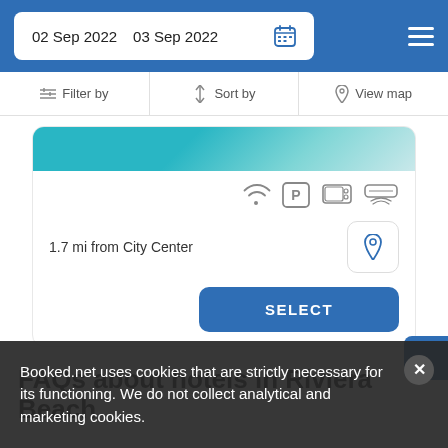02 Sep 2022  03 Sep 2022
Filter by  Sort by  View map
[Figure (photo): Hotel pool teal water partial view at top of card]
1.7 mi from City Center
SELECT
FAQs about hotels in Riviera Beach
Booked.net uses cookies that are strictly necessary for its functioning. We do not collect analytical and marketing cookies.